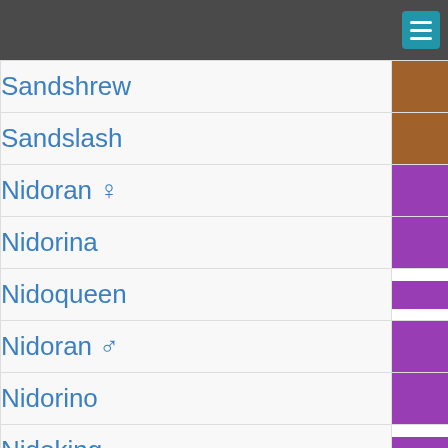| Pokémon | Type 1 | Type 2 |
| --- | --- | --- |
| Sandshrew | Ground |  |
| Sandslash | Ground |  |
| Nidoran ♀ | Poison |  |
| Nidorina | Poison |  |
| Nidoqueen | Poison | Ground |
| Nidoran ♂ | Poison |  |
| Nidorino | Poison |  |
| Nidoking | Poison | Ground |
| Clefairy | Fairy |  |
| Clefable | Fairy |  |
| Vulpix | Fire |  |
| Ninetales | Fire |  |
| Jigglypuff | Normal | Fairy |